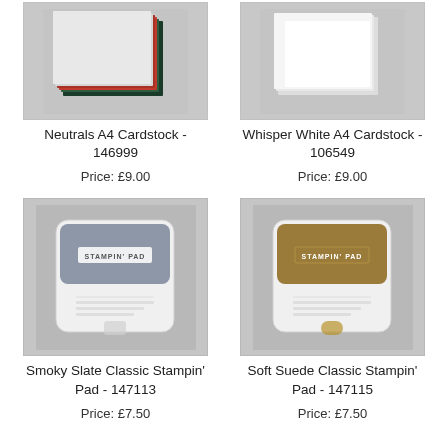[Figure (photo): Neutrals A4 Cardstock product image showing stacked colored cardstock sheets]
Neutrals A4 Cardstock - 146999
Price: £9.00
[Figure (photo): Whisper White A4 Cardstock product image showing white cardstock]
Whisper White A4 Cardstock - 106549
Price: £9.00
[Figure (photo): Smoky Slate Classic Stampin' Pad product image showing grey ink pad]
Smoky Slate Classic Stampin' Pad - 147113
Price: £7.50
[Figure (photo): Soft Suede Classic Stampin' Pad product image showing brown/tan ink pad]
Soft Suede Classic Stampin' Pad - 147115
Price: £7.50